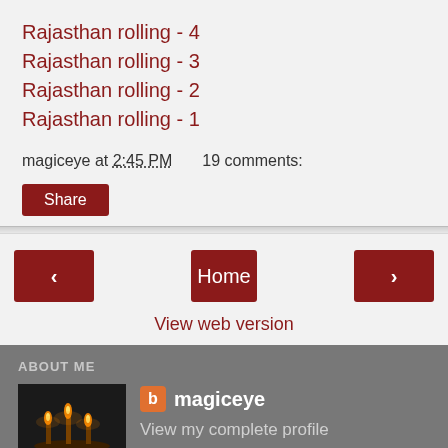Rajasthan rolling - 4
Rajasthan rolling - 3
Rajasthan rolling - 2
Rajasthan rolling - 1
magiceye at 2:45 PM   19 comments:
Share
< Home >
View web version
ABOUT ME
[Figure (photo): Photo of candles/diyas on dark background]
magiceye
View my complete profile
Powered by Blogger